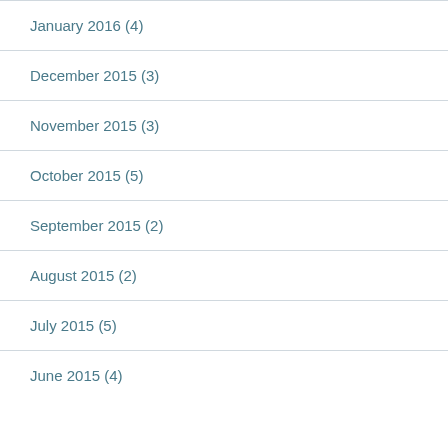January 2016 (4)
December 2015 (3)
November 2015 (3)
October 2015 (5)
September 2015 (2)
August 2015 (2)
July 2015 (5)
June 2015 (4)